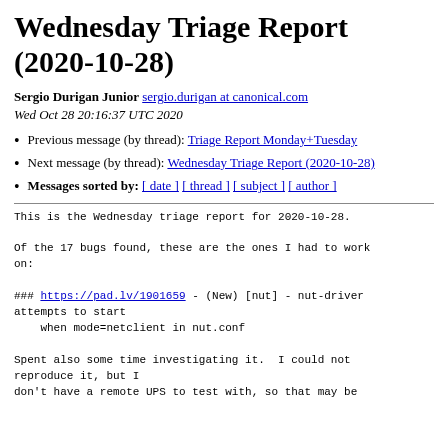Wednesday Triage Report (2020-10-28)
Sergio Durigan Junior sergio.durigan at canonical.com
Wed Oct 28 20:16:37 UTC 2020
Previous message (by thread): Triage Report Monday+Tuesday
Next message (by thread): Wednesday Triage Report (2020-10-28)
Messages sorted by: [ date ] [ thread ] [ subject ] [ author ]
This is the Wednesday triage report for 2020-10-28.

Of the 17 bugs found, these are the ones I had to work on:

### https://pad.lv/1901659 - (New) [nut] - nut-driver attempts to start
    when mode=netclient in nut.conf

Spent also some time investigating it.  I could not reproduce it, but I
don't have a remote UPS to test with, so that may be